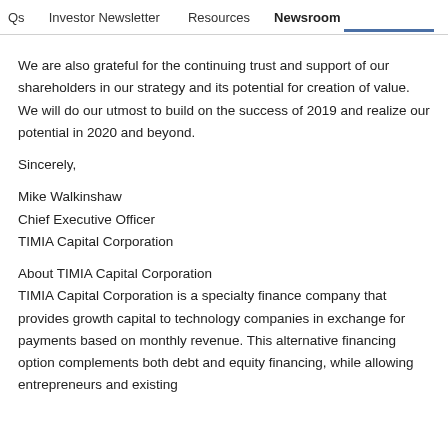Qs   Investor Newsletter   Resources   Newsroom
We are also grateful for the continuing trust and support of our shareholders in our strategy and its potential for creation of value. We will do our utmost to build on the success of 2019 and realize our potential in 2020 and beyond.
Sincerely,
Mike Walkinshaw
Chief Executive Officer
TIMIA Capital Corporation
About TIMIA Capital Corporation
TIMIA Capital Corporation is a specialty finance company that provides growth capital to technology companies in exchange for payments based on monthly revenue. This alternative financing option complements both debt and equity financing, while allowing entrepreneurs and existing